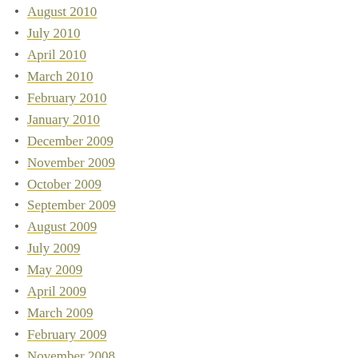August 2010
July 2010
April 2010
March 2010
February 2010
January 2010
December 2009
November 2009
October 2009
September 2009
August 2009
July 2009
May 2009
April 2009
March 2009
February 2009
November 2008